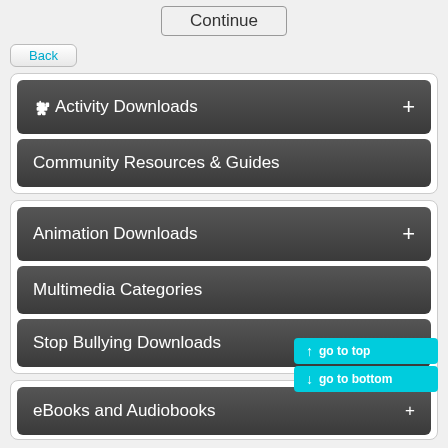[Figure (screenshot): Continue button at top of page]
[Figure (screenshot): Back button]
Activity Downloads
Community Resources & Guides
Animation Downloads
Multimedia Categories
Stop Bullying Downloads
[Figure (screenshot): go to top and go to bottom navigation buttons]
eBooks and Audiobooks